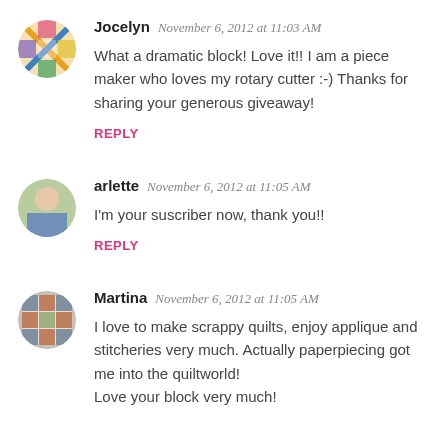Jocelyn  November 6, 2012 at 11:03 AM
What a dramatic block! Love it!! I am a piece maker who loves my rotary cutter :-) Thanks for sharing your generous giveaway!
REPLY
arlette  November 6, 2012 at 11:05 AM
I'm your suscriber now, thank you!!
REPLY
Martina  November 6, 2012 at 11:05 AM
I love to make scrappy quilts, enjoy applique and stitcheries very much. Actually paperpiecing got me into the quiltworld!
Love your block very much!